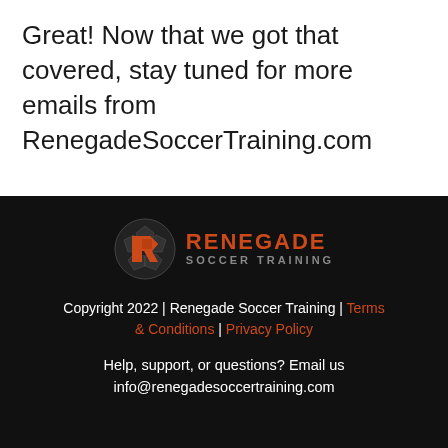Great! Now that we got that covered, stay tuned for more emails from RenegadeSoccerTraining.com
[Figure (logo): Renegade Soccer Training logo with stylized R in a soccer ball circle and orange text]
Copyright 2022 | Renegade Soccer Training | Terms & Conditions | Privacy Policy
Help, support, or questions? Email us info@renegadesoccertraining.com